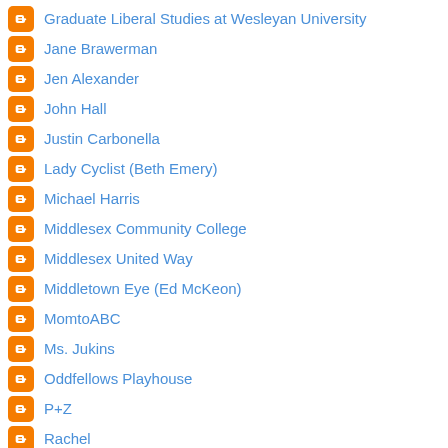Graduate Liberal Studies at Wesleyan University
Jane Brawerman
Jen Alexander
John Hall
Justin Carbonella
Lady Cyclist (Beth Emery)
Michael Harris
Middlesex Community College
Middlesex United Way
Middletown Eye (Ed McKeon)
MomtoABC
Ms. Jukins
Oddfellows Playhouse
P+Z
Rachel
Reader Submitted